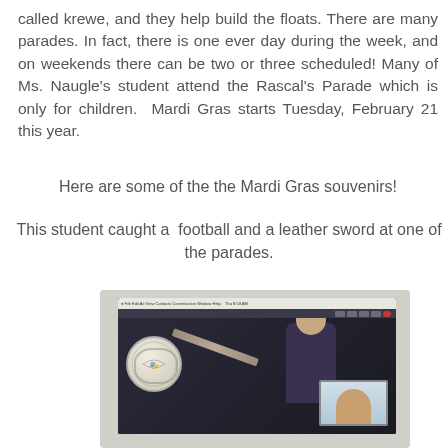called krewe, and they help build the floats. There are many parades. In fact, there is one ever day during the week, and on weekends there can be two or three scheduled! Many of Ms. Naugle's student attend the Rascal's Parade which is only for children. Mardi Gras starts Tuesday, February 21 this year.
Here are some of the the Mardi Gras souvenirs!
This student caught a football and a leather sword at one of the parades.
[Figure (photo): A laptop computer screen showing a video call. On the screen, there is a main video area showing a student with Mardi Gras souvenirs including a football and a leather sword. A smaller thumbnail video of another participant is visible in the lower right corner of the screen.]